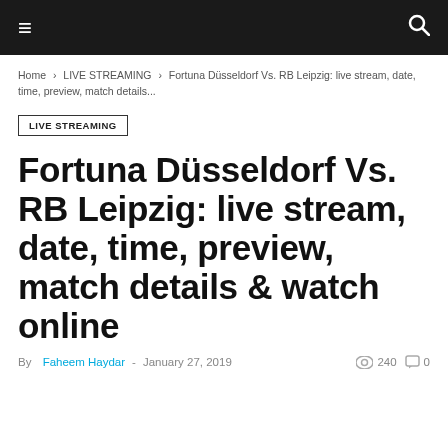≡   🔍
Home › LIVE STREAMING › Fortuna Düsseldorf Vs. RB Leipzig: live stream, date, time, preview, match details...
LIVE STREAMING
Fortuna Düsseldorf Vs. RB Leipzig: live stream, date, time, preview, match details & watch online
By Faheem Haydar - January 27, 2019   240   0